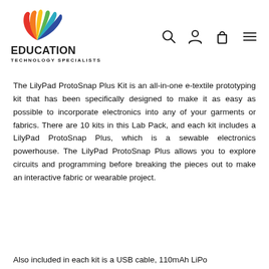[Figure (logo): Education Technology Specialists logo with colorful flame/swoosh graphic above bold text reading EDUCATION TECHNOLOGY SPECIALISTS]
The LilyPad ProtoSnap Plus Kit is an all-in-one e-textile prototyping kit that has been specifically designed to make it as easy as possible to incorporate electronics into any of your garments or fabrics. There are 10 kits in this Lab Pack, and each kit includes a LilyPad ProtoSnap Plus, which is a sewable electronics powerhouse. The LilyPad ProtoSnap Plus allows you to explore circuits and programming before breaking the pieces out to make an interactive fabric or wearable project.
Also included in each kit is a USB cable, 110mAh LiPo